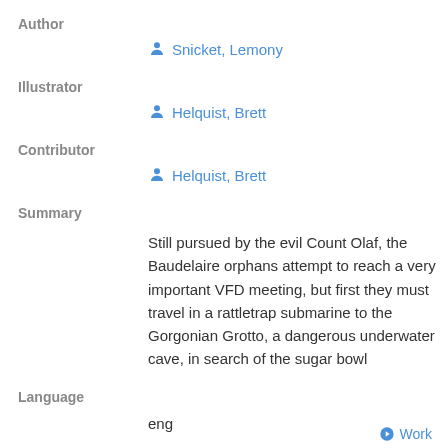Author
Snicket, Lemony
Illustrator
Helquist, Brett
Contributor
Helquist, Brett
Summary
Still pursued by the evil Count Olaf, the Baudelaire orphans attempt to reach a very important VFD meeting, but first they must travel in a rattletrap submarine to the Gorgonian Grotto, a dangerous underwater cave, in search of the sugar bowl
Language
eng
Work